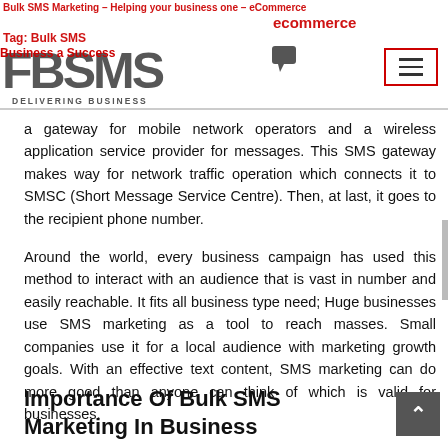Bulk SMS Marketing – Helping your business one | eCommerce | Tag: Bulk SMS | Business a Success | FBSMS DELIVERING BUSINESS
a gateway for mobile network operators and a wireless application service provider for messages. This SMS gateway makes way for network traffic operation which connects it to SMSC (Short Message Service Centre). Then, at last, it goes to the recipient phone number.
Around the world, every business campaign has used this method to interact with an audience that is vast in number and easily reachable. It fits all business type need; Huge businesses use SMS marketing as a tool to reach masses. Small companies use it for a local audience with marketing growth goals. With an effective text content, SMS marketing can do more good than anyone can think of which is valid for businesses.
Importance Of Bulk SMS Marketing In Business